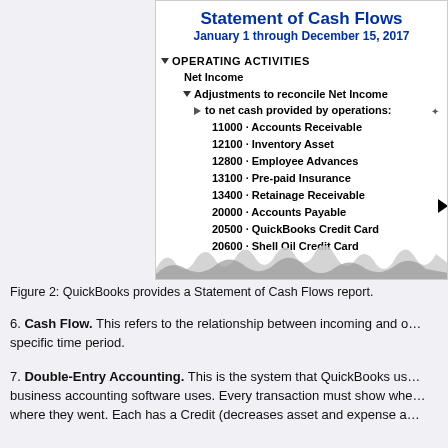[Figure (screenshot): Screenshot of QuickBooks Statement of Cash Flows report for January 1 through December 15, 2017, showing Operating Activities section with Net Income, Adjustments to reconcile Net Income, to net cash provided by operations, and line items: 11000 Accounts Receivable, 12100 Inventory Asset, 12800 Employee Advances, 13100 Pre-paid Insurance, 13400 Retainage Receivable, 20000 Accounts Payable, 20500 QuickBooks Credit Card, 20600 Shell Oil Credit Card (partially visible), with wave/noise overlay at bottom]
Figure 2: QuickBooks provides a Statement of Cash Flows report.
6. Cash Flow. This refers to the relationship between incoming and outgoing money over a specific time period.
7. Double-Entry Accounting. This is the system that QuickBooks uses, as well as all other business accounting software uses. Every transaction must show where money came from and where they went. Each has a Credit (decreases asset and expense a…